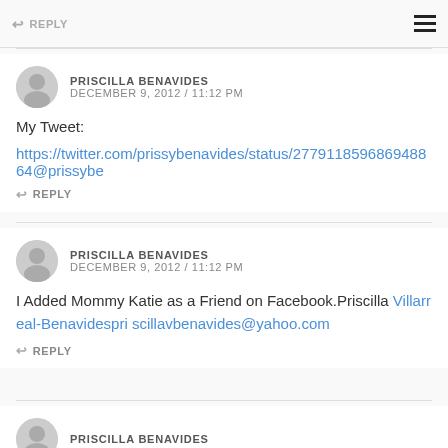REPLY
PRISCILLA BENAVIDES
DECEMBER 9, 2012 / 11:12 PM
My Tweet:
https://twitter.com/prissybenavides/status/277911859686948864@prissybe
REPLY
PRISCILLA BENAVIDES
DECEMBER 9, 2012 / 11:12 PM
I Added Mommy Katie as a Friend on Facebook.Priscilla Villarreal-Benavidespri scillavbenavides@yahoo.com
REPLY
PRISCILLA BENAVIDES